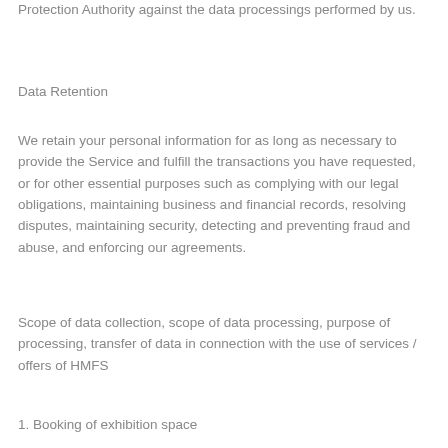Protection Authority against the data processings performed by us.
Data Retention
We retain your personal information for as long as necessary to provide the Service and fulfill the transactions you have requested, or for other essential purposes such as complying with our legal obligations, maintaining business and financial records, resolving disputes, maintaining security, detecting and preventing fraud and abuse, and enforcing our agreements.
Scope of data collection, scope of data processing, purpose of processing, transfer of data in connection with the use of services / offers of HMFS
1. Booking of exhibition space